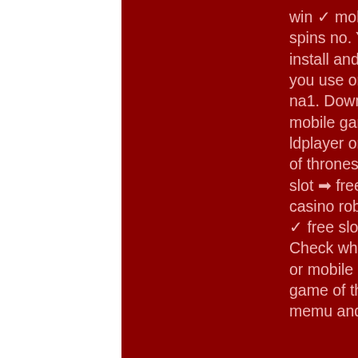win ✓ mobile for android, iphone &amp; tablets ✓ review ✓ free spins no. Yes, they do exits a few simple tricks you can use to install android apps on windows machine and use them as you use on android smartphones. 15 мин · материалы: na, na1. Download ldplayer, a free android emulator to play mobile games&amp;apps on pc2. Complete the installation of ldplayer on your desktop3. Launch ldplayer and search game of thrones slots casino on the search bar. Game of thrones slot ➡ free play online ► casino game ► microgaming ❤ casino robots ⚡ play now🎰 huge types of free casino games ✓ free slots. Read about game of thrones slot machine. Check which casino offers this game to free download for pc or mobile and find out if you can claim any bonus. Download game of thrones slots casino: epic free slots game on pc with memu android emulator. Cashman casino - free slots machines &